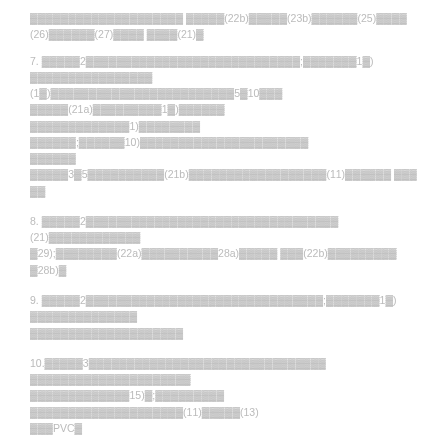▓▓▓▓▓▓▓▓▓▓▓▓▓▓▓▓▓▓▓▓ ▓▓▓▓▓(22b)▓▓▓▓▓(23b)▓▓▓▓▓▓(25)▓▓▓▓ (26)▓▓▓▓▓▓(27)▓▓▓▓ ▓▓▓▓(21)▓
7. ▓▓▓▓▓2▓▓▓▓▓▓▓▓▓▓▓▓▓▓▓▓▓▓▓▓▓▓▓▓▓▓▓▓;▓▓▓▓▓▓▓1▓) ▓▓▓▓▓▓▓▓▓▓▓▓▓▓▓▓ (1▓)▓▓▓▓▓▓▓▓▓▓▓▓▓▓▓▓▓▓▓▓▓▓▓▓5▓10▓▓▓ ▓▓▓▓▓(21a)▓▓▓▓▓▓▓▓▓1▓)▓▓▓▓▓▓ ▓▓▓▓▓▓▓▓▓▓▓▓▓1)▓▓▓▓▓▓▓▓ ▓▓▓▓▓▓;▓▓▓▓▓▓10)▓▓▓▓▓▓▓▓▓▓▓▓▓▓▓▓▓▓▓▓▓▓ ▓▓▓▓▓▓ ▓▓▓▓▓3▓5▓▓▓▓▓▓▓▓▓▓(21b)▓▓▓▓▓▓▓▓▓▓▓▓▓▓▓▓▓▓(11)▓▓▓▓▓▓ ▓▓▓ ▓▓
8. ▓▓▓▓▓2▓▓▓▓▓▓▓▓▓▓▓▓▓▓▓▓▓▓▓▓▓▓▓▓▓▓▓▓▓▓▓▓▓ (21)▓▓▓▓▓▓▓▓▓▓▓▓ ▓29);▓▓▓▓▓▓▓▓(22a)▓▓▓▓▓▓▓▓▓▓28a)▓▓▓▓▓ ▓▓▓(22b)▓▓▓▓▓▓▓▓▓ ▓28b)▓
9. ▓▓▓▓▓2▓▓▓▓▓▓▓▓▓▓▓▓▓▓▓▓▓▓▓▓▓▓▓▓▓▓▓▓▓▓▓;▓▓▓▓▓▓▓1▓) ▓▓▓▓▓▓▓▓▓▓▓▓▓▓ ▓▓▓▓▓▓▓▓▓▓▓▓▓▓▓▓▓▓▓▓
10.▓▓▓▓▓3▓▓▓▓▓▓▓▓▓▓▓▓▓▓▓▓▓▓▓▓▓▓▓▓▓▓▓▓▓▓▓ ▓▓▓▓▓▓▓▓▓▓▓▓▓▓▓▓▓▓▓▓▓ ▓▓▓▓▓▓▓▓▓▓▓▓▓15)▓;▓▓▓▓▓▓▓▓▓ ▓▓▓▓▓▓▓▓▓▓▓▓▓▓▓▓▓▓▓▓(11)▓▓▓▓▓(13) ▓▓▓PVC▓
Description
▓▓▓▓▓▓▓▓▓▓▓▓▓▓